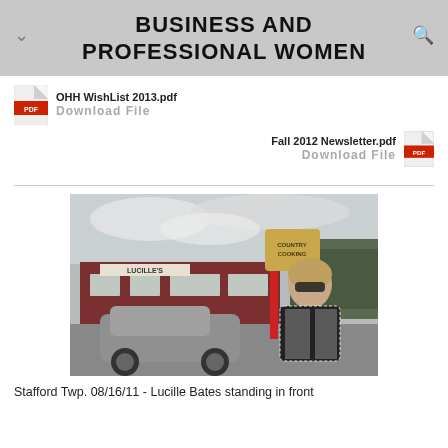BUSINESS AND PROFESSIONAL WOMEN
OHH WishList 2013.pdf
Download File
Fall 2012 Newsletter.pdf
Download File
[Figure (photo): Woman with sunglasses standing in front of Lucille's restaurant with a car in the parking lot and a hanging sign reading 'Country Cooking']
Stafford Twp. 08/16/11 - Lucille Bates standing in front